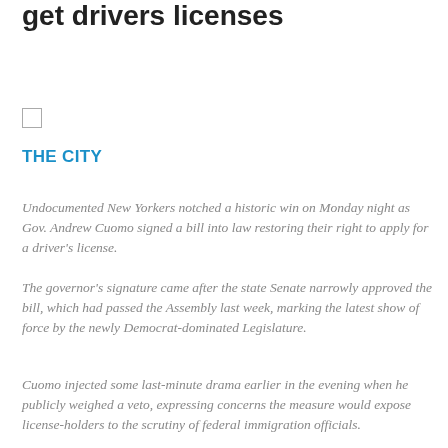get drivers licenses
[Figure (other): Small checkbox UI element]
THE CITY
Undocumented New Yorkers notched a historic win on Monday night as Gov. Andrew Cuomo signed a bill into law restoring their right to apply for a driver's license.
The governor's signature came after the state Senate narrowly approved the bill, which had passed the Assembly last week, marking the latest show of force by the newly Democrat-dominated Legislature.
Cuomo injected some last-minute drama earlier in the evening when he publicly weighed a veto, expressing concerns the measure would expose license-holders to the scrutiny of federal immigration officials.